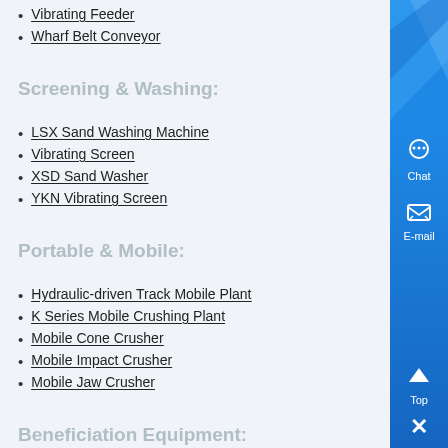Vibrating Feeder
Wharf Belt Conveyor
Screening & Washing:
LSX Sand Washing Machine
Vibrating Screen
XSD Sand Washer
YKN Vibrating Screen
Portable & Mobile:
Hydraulic-driven Track Mobile Plant
K Series Mobile Crushing Plant
Mobile Cone Crusher
Mobile Impact Crusher
Mobile Jaw Crusher
Beneficiation Equipment:
Flotation Machine
High-frequency Screen